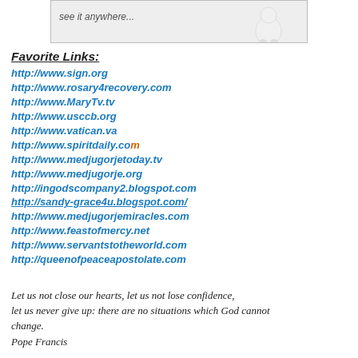[Figure (illustration): Top banner image showing a partial text and a small white figurine/character on the right side against a light background.]
Favorite Links:
http://www.sign.org
http://www.rosary4recovery.com
http://www.MaryTv.tv
http://www.usccb.org
http://www.vatican.va
http://www.spiritdaily.com
http://www.medjugorjetoday.tv
http://www.medjugorje.org
http://ingodscompany2.blogspot.com
http://sandy-grace4u.blogspot.com/
http://www.medjugorjemiracles.com
http://www.feastofmercy.net
http://www.servantstotheworld.com
http://queenofpeaceapostolate.com
Let us not close our hearts, let us not lose confidence, let us never give up: there are no situations which God cannot change.
Pope Francis